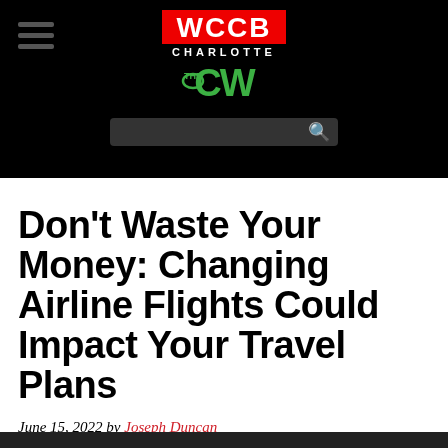[Figure (logo): WCCB Charlotte The CW network logo on black background with hamburger menu and search bar]
Don't Waste Your Money: Changing Airline Flights Could Impact Your Travel Plans
June 15, 2022 by Joseph Duncan